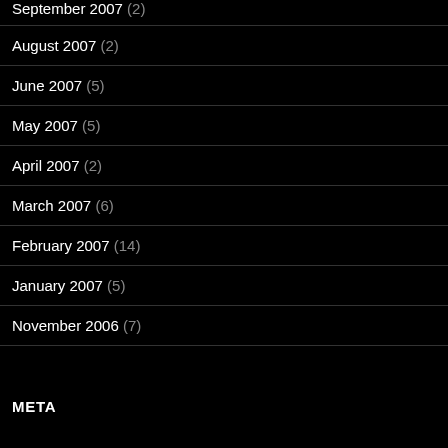September 2007 (2)
August 2007 (2)
June 2007 (5)
May 2007 (5)
April 2007 (2)
March 2007 (6)
February 2007 (14)
January 2007 (5)
November 2006 (7)
META
Log in